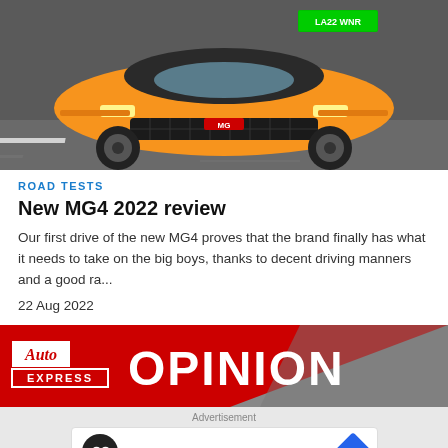[Figure (photo): Front view of an orange MG4 electric car driving on a road. The car has a green UK license plate reading LA22 WNR. The car is photographed from a low front angle showing the front grille and headlights.]
ROAD TESTS
New MG4 2022 review
Our first drive of the new MG4 proves that the brand finally has what it needs to take on the big boys, thanks to decent driving manners and a good ra...
22 Aug 2022
[Figure (photo): Auto Express Opinion banner - red background with Auto Express logo on the left and the word OPINION in large white bold text. A grey diagonal shape appears in the background on the right.]
Advertisement
[Figure (other): Advertisement banner showing a circular logo with infinity symbol, a checkmark icon with 'In-store shopping' text, and a blue diamond-shaped arrow button on the right. Small play button and X icons appear at the bottom left.]